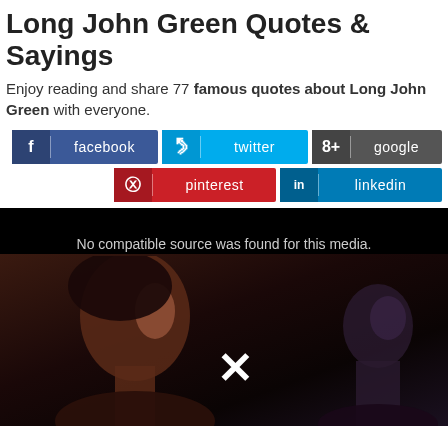Long John Green Quotes & Sayings
Enjoy reading and share 77 famous quotes about Long John Green with everyone.
[Figure (screenshot): Social media share buttons: facebook, twitter, google (top row); pinterest, linkedin (bottom row)]
[Figure (photo): Video player showing 'No compatible source was found for this media.' with a cinema scene showing people watching a film, with an X icon overlay at the bottom center]